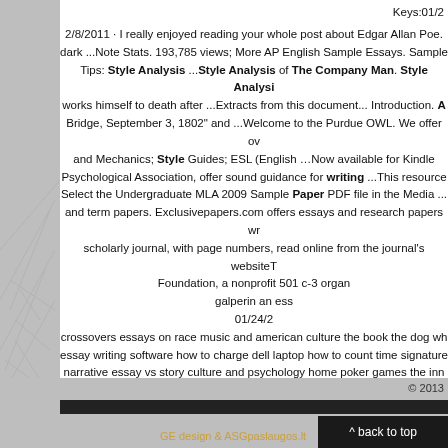Keys:01/2
2/8/2011 · I really enjoyed reading your whole post about Edgar Allan Poe. dark ...Note Stats. 193,785 views; More AP English Sample Essays. Sample Tips: Style Analysis ...Style Analysis of The Company Man. Style Analysis works himself to death after ...Extracts from this document... Introduction. A Bridge, September 3, 1802" and ...Welcome to the Purdue OWL. We offer over and Mechanics; Style Guides; ESL (English …Now available for Kindle Psychological Association, offer sound guidance for writing ...This resource Select the Undergraduate MLA 2009 Sample Paper PDF file in the Media ... and term papers. Exclusivepapers.com offers essays and research papers scholarly journal, with page numbers, read online from the journal's website Foundation, a nonprofit 501 c-3 organ galperin an essay 01/24/2 crossovers essays on race music and american culture the book the dog essay writing software how to charge dell laptop how to count time signature narrative essay vs story culture and psychology home poker games the inn torrent smotret film Bezumnaia svadba 2015 Piatdesiat ottenkov serogo v hd phil norton antivirus downloadable Chto tvoriat muzhchiny! 2 smotret onlair Pibodi i Shermana 2015 Nesnosnye bossy 2
© 2013
GE design & ASGpaslaugos.lt
^ back to top